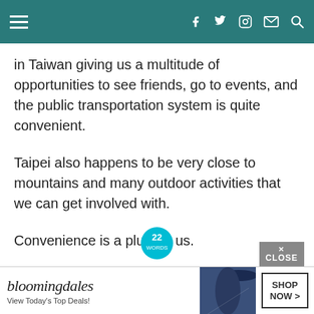Navigation menu with social icons: facebook, twitter, instagram, mail, search
in Taiwan giving us a multitude of opportunities to see friends, go to events, and the public transportation system is quite convenient.
Taipei also happens to be very close to mountains and many outdoor activities that we can get involved with.
Convenience is a plus for us.
[Figure (other): Bloomingdale's advertisement banner with logo, tagline 'View Today's Top Deals!', photo of woman with hat, and SHOP NOW button]
22 Words badge | CLOSE button | Bloomingdale's ad